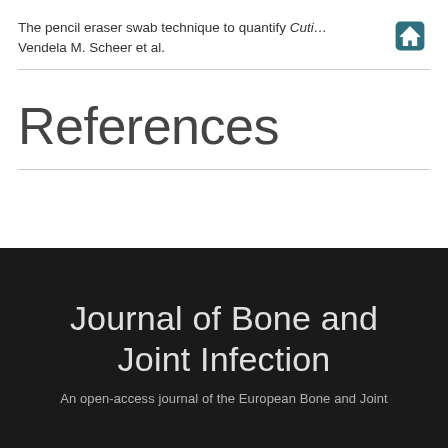The pencil eraser swab technique to quantify Cuti… Vendela M. Scheer et al.
References
Journal of Bone and Joint Infection
An open-access journal of the European Bone and Joint